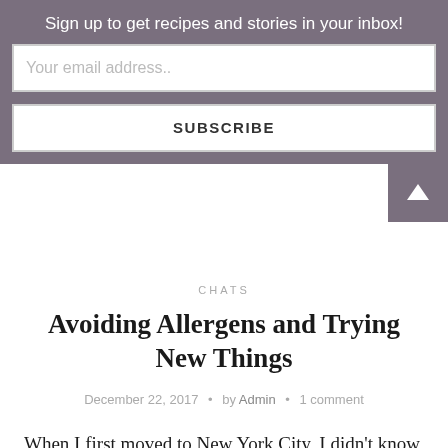Sign up to get recipes and stories in your inbox!
Your email address..
SUBSCRIBE
CHATS
Avoiding Allergens and Trying New Things
December 22, 2017 • by Admin • 1 comment
When I first moved to New York City, I didn't know anyone. I didn't know where to eat lunch, the best